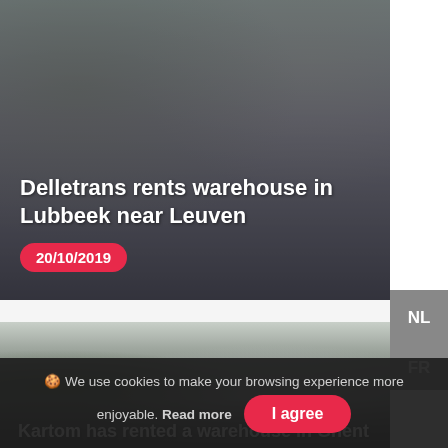[Figure (photo): Aerial/ground view of a parking area or road near a warehouse building, dark overcast photo with concrete surfaces]
Delletrans rents warehouse in Lubbeek near Leuven
20/10/2019
NL
FR
[Figure (photo): Exterior view of a warehouse complex in Ghent, showing industrial buildings with blue roof accents, trees on the left, overcast sky]
Kartom has rented a warehouse in Ghent
🍪 We use cookies to make your browsing experience more enjoyable. Read more
I agree